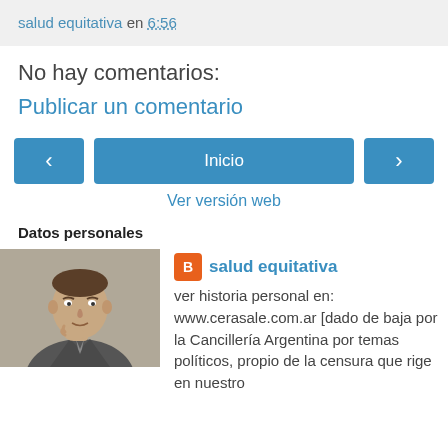salud equitativa en 6:56
No hay comentarios:
Publicar un comentario
‹  Inicio  ›
Ver versión web
Datos personales
[Figure (photo): Profile photo of a man in a suit, thinking pose]
salud equitativa
ver historia personal en: www.cerasale.com.ar [dado de baja por la Cancillería Argentina por temas políticos, propio de la censura que rige en nuestro